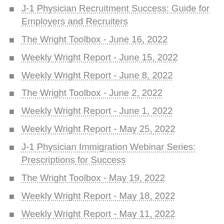J-1 Physician Recruitment Success: Guide for Employers and Recruiters
The Wright Toolbox - June 16, 2022
Weekly Wright Report - June 15, 2022
Weekly Wright Report - June 8, 2022
The Wright Toolbox - June 2, 2022
Weekly Wright Report - June 1, 2022
Weekly Wright Report - May 25, 2022
J-1 Physician Immigration Webinar Series: Prescriptions for Success
The Wright Toolbox - May 19, 2022
Weekly Wright Report - May 18, 2022
Weekly Wright Report - May 11, 2022
Wright Toolbox - May 5, 2022
Weekly Wright Report - May 4, 2022
Weekly Wright Report - April 27, 2022